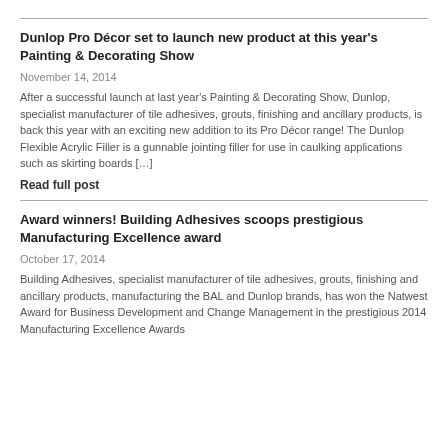Dunlop Pro Décor set to launch new product at this year's Painting & Decorating Show
November 14, 2014
After a successful launch at last year's Painting & Decorating Show, Dunlop, specialist manufacturer of tile adhesives, grouts, finishing and ancillary products, is back this year with an exciting new addition to its Pro Décor range! The Dunlop Flexible Acrylic Filler is a gunnable jointing filler for use in caulking applications such as skirting boards […]
Read full post
Award winners! Building Adhesives scoops prestigious Manufacturing Excellence award
October 17, 2014
Building Adhesives, specialist manufacturer of tile adhesives, grouts, finishing and ancillary products, manufacturing the BAL and Dunlop brands, has won the Natwest Award for Business Development and Change Management in the prestigious 2014 Manufacturing Excellence Awards